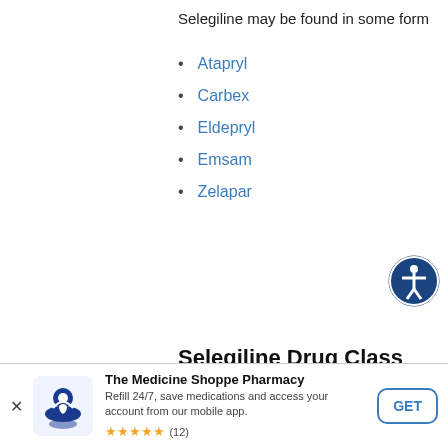Selegiline may be found in some form...
Atapryl
Carbex
Eldepryl
Emsam
Zelapar
Selegiline Drug Class
Selegiline is part of the drug class:
The Medicine Shoppe Pharmacy
Refill 24/7, save medications and access your account from our mobile app.
★★★★★ (12)